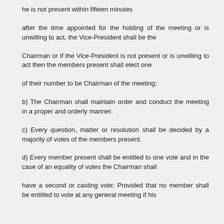he is not present within fifteen minutes
after the time appointed for the holding of the meeting or is unwilling to act, the Vice-President shall be the
Chairman or if the Vice-President is not present or is unwilling to act then the members present shall elect one
of their number to be Chairman of the meeting;
b) The Chairman shall maintain order and conduct the meeting in a proper and orderly manner.
c) Every question, matter or resolution shall be decided by a majority of votes of the members present.
d) Every member present shall be entitled to one vote and in the case of an equality of votes the Chairman shall
have a second or casting vote; Provided that no member shall be entitled to vote at any general meeting if his